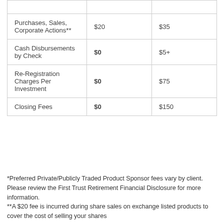| Purchases, Sales, Corporate Actions** | $20 | $35 |
| Cash Disbursements by Check | $0 | $5+ |
| Re-Registration Charges Per Investment | $0 | $75 |
| Closing Fees | $0 | $150 |
*Preferred Private/Publicly Traded Product Sponsor fees vary by client.  Please review the First Trust Retirement Financial Disclosure for more information.
**A $20 fee is incurred during share sales on exchange listed products to cover the cost of selling your shares